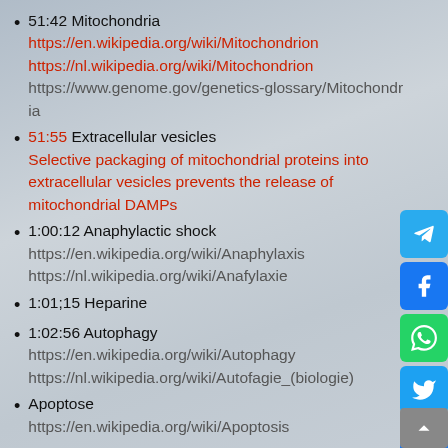51:42 Mitochondria https://en.wikipedia.org/wiki/Mitochondrion https://nl.wikipedia.org/wiki/Mitochondrion https://www.genome.gov/genetics-glossary/Mitochondria
51:55 Extracellular vesicles Selective packaging of mitochondrial proteins into extracellular vesicles prevents the release of mitochondrial DAMPs
1:00:12 Anaphylactic shock https://en.wikipedia.org/wiki/Anaphylaxis https://nl.wikipedia.org/wiki/Anafylaxie
1:01;15 Heparine
1:02:56 Autophagy https://en.wikipedia.org/wiki/Autophagy https://nl.wikipedia.org/wiki/Autofagie_(biologie)
Apoptose https://en.wikipedia.org/wiki/Apoptosis